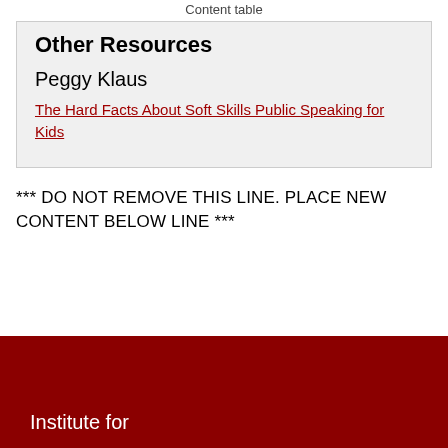Content table
Other Resources
Peggy Klaus
The Hard Facts About Soft Skills Public Speaking for Kids
*** DO NOT REMOVE THIS LINE. PLACE NEW CONTENT BELOW LINE ***
Institute for